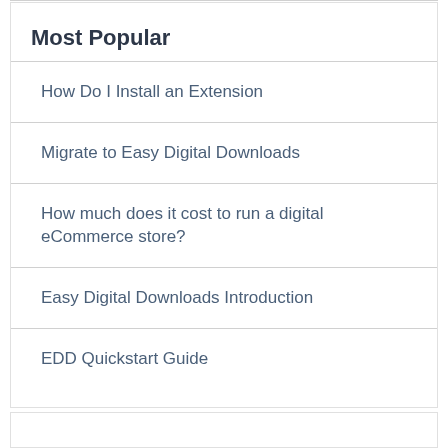Most Popular
How Do I Install an Extension
Migrate to Easy Digital Downloads
How much does it cost to run a digital eCommerce store?
Easy Digital Downloads Introduction
EDD Quickstart Guide